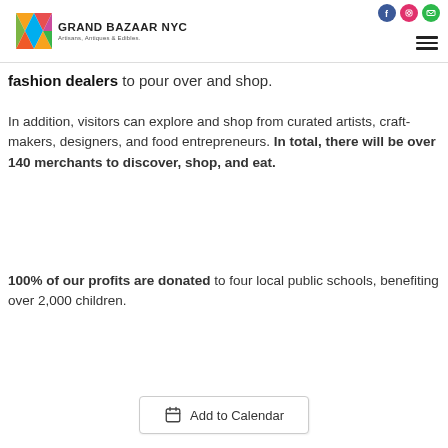GRAND BAZAAR NYC — Artisans, Antiques & Edibles.
fashion dealers to pour over and shop.
In addition, visitors can explore and shop from curated artists, craft-makers, designers, and food entrepreneurs. In total, there will be over 140 merchants to discover, shop, and eat.
100% of our profits are donated to four local public schools, benefiting over 2,000 children.
Add to Calendar